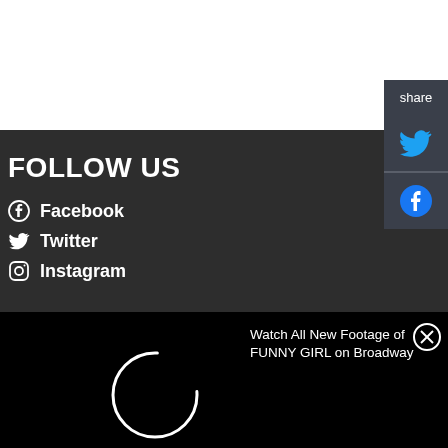FOLLOW US
Facebook
Twitter
Instagram
share
Watch All New Footage of FUNNY GIRL on Broadway